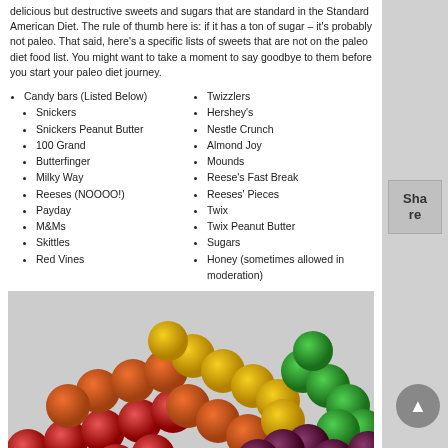delicious but destructive sweets and sugars that are standard in the Standard American Diet. The rule of thumb here is: if it has a ton of sugar – it's probably not paleo. That said, here's a specific lists of sweets that are not on the paleo diet food list. You might want to take a moment to say goodbye to them before you start your paleo diet journey.
Candy bars (Listed Below)
Snickers
Snickers Peanut Butter
100 Grand
Butterfinger
Milky Way
Reeses (NOOOO!)
Payday
M&Ms
Skittles
Red Vines
Twizzlers
Hershey's
Nestle Crunch
Almond Joy
Mounds
Reese's Fast Break
Reeses' Pieces
Twix
Twix Peanut Butter
Sugars
Honey (sometimes allowed in moderation)
[Figure (photo): Colorful Skittles candies arranged in rainbow rows: red, orange, yellow, green, and dark purple/maroon]
For more paleo resources visit UltimatePaleoGuide.com
photo credit: Linda Cronin | wEnDaLicious | woodleywonderworks | Daniel Paney | Robert Mohlan